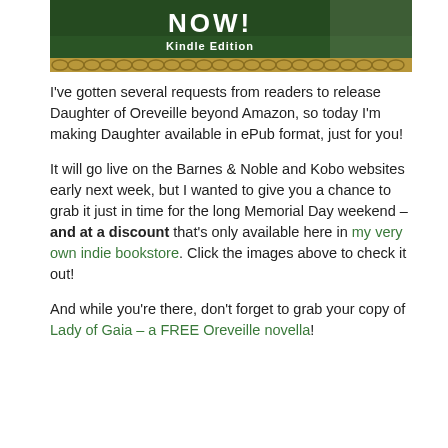[Figure (illustration): Book promotion banner with dark green background showing 'NOW! Kindle Edition' text in white with a decorative gold chain border at the bottom, and a partial figure of a woman in a white dress on the right side.]
I've gotten several requests from readers to release Daughter of Oreveille beyond Amazon, so today I'm making Daughter available in ePub format, just for you!
It will go live on the Barnes & Noble and Kobo websites early next week, but I wanted to give you a chance to grab it just in time for the long Memorial Day weekend – and at a discount that's only available here in my very own indie bookstore. Click the images above to check it out!
And while you're there, don't forget to grab your copy of Lady of Gaia – a FREE Oreveille novella!